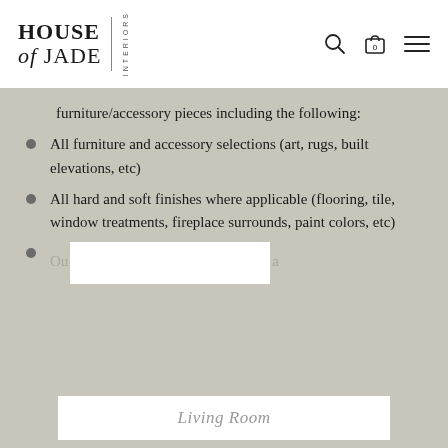HOUSE of JADE INTERIORS
furniture/accessory pieces including the following:
All furniture and accessory selections (art, rugs, built elevations, etc)
All hard and soft finishes where applicable (flooring, tile, window treatments, fireplace surrounds, paint colors, etc)
Our Living Room idea
Living Room